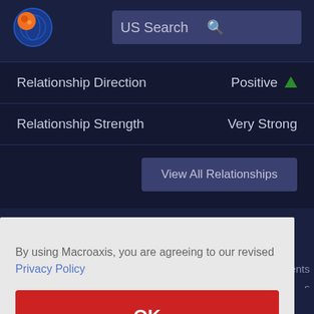[Figure (screenshot): Macroaxis website header with logo and US Search search bar on dark navy background]
|  |  |
| --- | --- |
| Relationship Direction | Positive ▲ |
| Relationship Strength | Very Strong |
View All Relationships
By using Macroaxis, you are agreeing to our revised Privacy Policy
OK
ents
s
orted
under current liabilities. If accounts payable of Astronics Cp